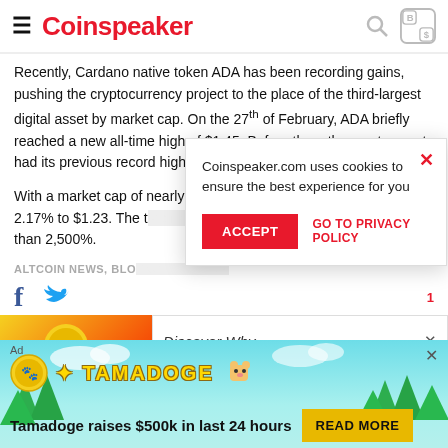Coinspeaker
Recently, Cardano native token ADA has been recording gains, pushing the cryptocurrency project to the place of the third-largest digital asset by market cap. On the 27th of February, ADA briefly reached a new all-time high of $1.45. Before then, the crypto asset had its previous record high of $1.30 in early 2018.
With a market cap of nearly $40 billion, ADA is currently down 2.17% to $1.23. The t[rading volume has also grown] significantly, about [2,500]% than 2,500%.
ALTCOIN NEWS, BLO[CKCHAIN NEWS]
[Figure (screenshot): Cookie consent modal overlay: 'Coinspeaker.com uses cookies to ensure the best experience for you' with ACCEPT button and GO TO PRIVACY POLICY link]
[Figure (infographic): Tamadoge advertisement banner: 'Tamadoge raises $500k in last 24 hours' with READ MORE button, coin logo and cartoon dog]